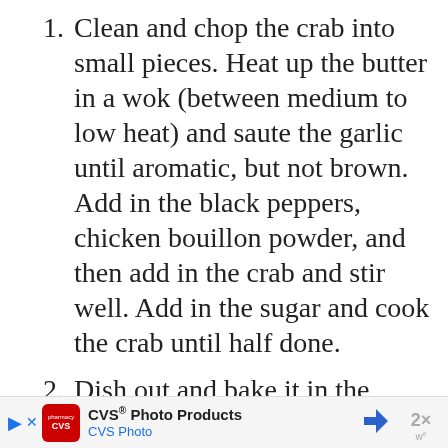1. Clean and chop the crab into small pieces. Heat up the butter in a wok (between medium to low heat) and saute the garlic until aromatic, but not brown. Add in the black peppers, chicken bouillon powder, and then add in the crab and stir well. Add in the sugar and cook the crab until half done.
2. Dish out and bake it in the
[Figure (other): Advertisement banner for CVS Photo Products / CVS Photo with navigation arrows and close button]